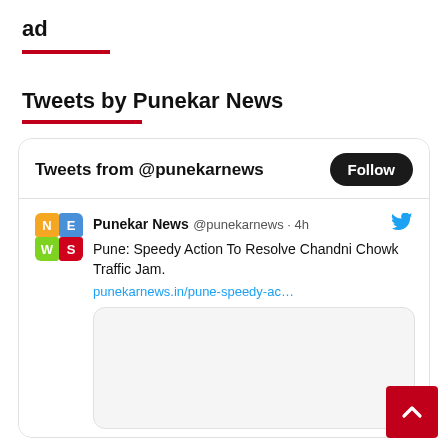ad
Tweets by Punekar News
[Figure (screenshot): Twitter widget showing tweets from @punekarnews with a Follow button, and a tweet: 'Pune: Speedy Action To Resolve Chandni Chowk Traffic Jam.' with link punekarnews.in/pune-speedy-ac...]
[Figure (other): Back to top button (red square with upward arrow)]